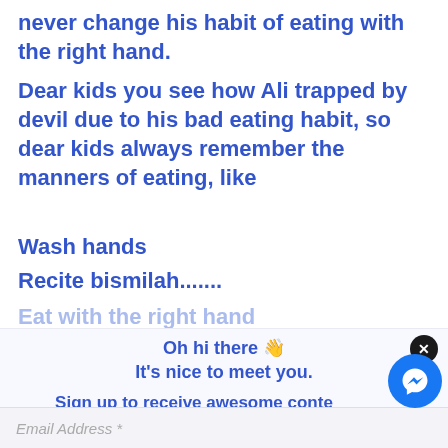never change his habit of eating with the right hand.
Dear kids you see how Ali trapped by devil due to his bad eating habit, so dear kids always remember the manners of eating, like
Wash hands
Recite bismilah.......
Eat with the right hand
Oh hi there 👋
It's nice to meet you.
Sign up to receive awesome content in your inbox, every month.
Email Address *